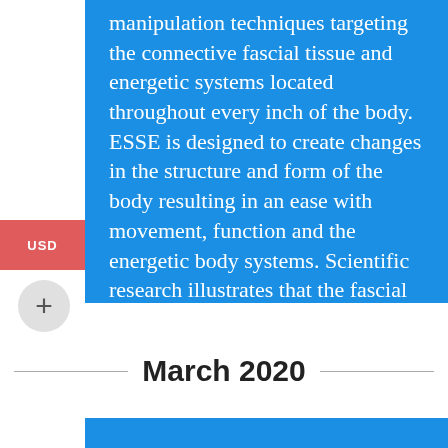manipulation techniques targeting the connective fascial tissue and energetic systems located throughout every inch of the body. ESSE is designed to create changes in the structure and form of the body resulting in an ease with movement, function and the energetic body systems. Scientific research illustrates that the fascial system responds to a question. The tools of Access Consciousness™ invite you to…
Find out more »
March 2020